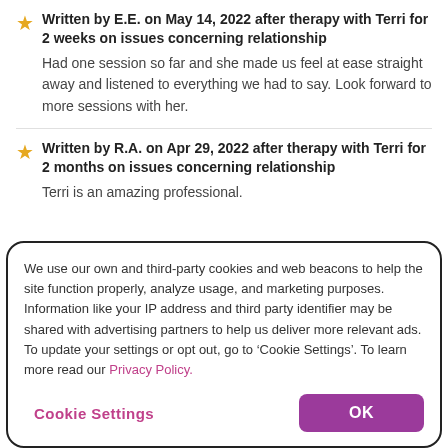Written by E.E. on May 14, 2022 after therapy with Terri for 2 weeks on issues concerning relationship
Had one session so far and she made us feel at ease straight away and listened to everything we had to say. Look forward to more sessions with her.
Written by R.A. on Apr 29, 2022 after therapy with Terri for 2 months on issues concerning relationship
Terri is an amazing professional.
We use our own and third-party cookies and web beacons to help the site function properly, analyze usage, and marketing purposes. Information like your IP address and third party identifier may be shared with advertising partners to help us deliver more relevant ads. To update your settings or opt out, go to ‘Cookie Settings’. To learn more read our Privacy Policy.